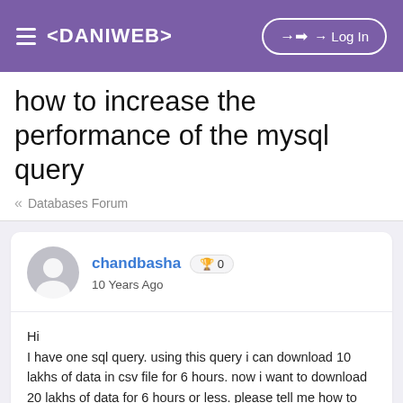≡ <DANIWEB>   → Log In
how to increase the performance of the mysql query
« Databases Forum
chandbasha 🏆 0
10 Years Ago
Hi
I have one sql query. using this query i can download 10 lakhs of data in csv file for 6 hours. now i want to download 20 lakhs of data for 6 hours or less. please tell me how to increase the performance.